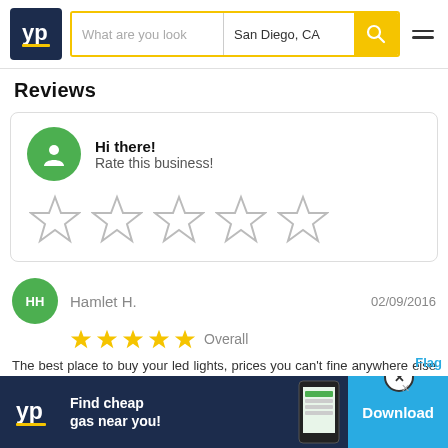[Figure (screenshot): YellowPages (YP) website header with logo, search bar showing 'What are you look' placeholder and 'San Diego, CA' location, yellow search button with magnifying glass icon, and hamburger menu icon]
Reviews
[Figure (infographic): Rate this business card with green user avatar icon, text 'Hi there! Rate this business!' and five empty star rating icons]
[Figure (infographic): Review by Hamlet H. dated 02/09/2016 with 5 yellow stars Overall rating and review text]
Hamlet H.
02/09/2016
Overall
The best place to buy your led lights, prices you can't fine anywhere else and customer service is unbelievable, very helpful and profecional.
[Figure (infographic): YP app advertisement banner: 'Find cheap gas near you!' with Download button]